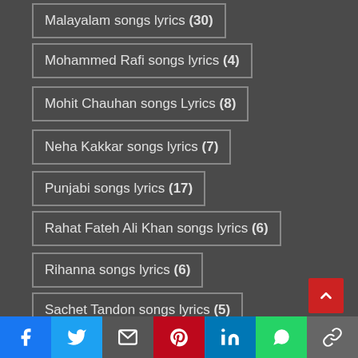Malayalam songs lyrics (30)
Mohammed Rafi songs lyrics (4)
Mohit Chauhan songs Lyrics (8)
Neha Kakkar songs lyrics (7)
Punjabi songs lyrics (17)
Rahat Fateh Ali Khan songs lyrics (6)
Rihanna songs lyrics (6)
Sachet Tandon songs lyrics (5)
Shreya Ghoshal songs lyrics (21)